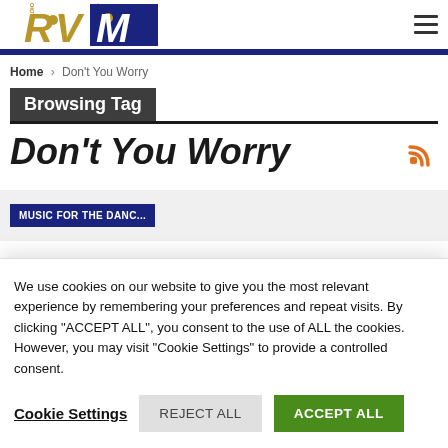[Figure (logo): RVM Radio Video Music logo with golden italic RV and blue block M letters]
Home › Don't You Worry
Browsing Tag
Don't You Worry
MUSIC FOR THE DANC...
We use cookies on our website to give you the most relevant experience by remembering your preferences and repeat visits. By clicking "ACCEPT ALL", you consent to the use of ALL the cookies. However, you may visit "Cookie Settings" to provide a controlled consent.
Cookie Settings   REJECT ALL   ACCEPT ALL